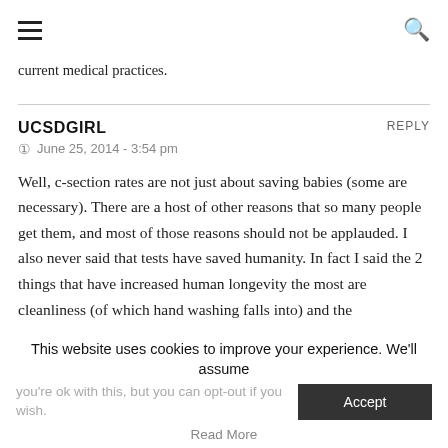≡  🔍
current medical practices.
UCSDGIRL
REPLY
🕐 June 25, 2014 - 3:54 pm
Well, c-section rates are not just about saving babies (some are necessary). There are a host of other reasons that so many people get them, and most of those reasons should not be applauded. I also never said that tests have saved humanity. In fact I said the 2 things that have increased human longevity the most are cleanliness (of which hand washing falls into) and the
This website uses cookies to improve your experience. We'll assume you're ok with this, but you can opt-out if you wish.
Accept
Read More